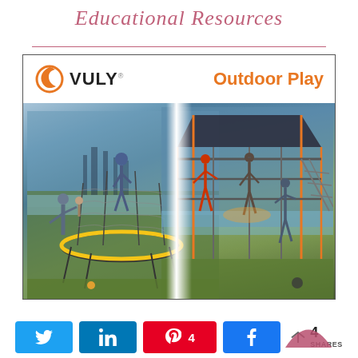Educational Resources
[Figure (photo): Vuly Outdoor Play advertisement showing a split image: left side shows a family with a trampoline (a man lifting a child beside a large trampoline with safety net, city skyline background), right side shows people using outdoor gym equipment (monkey bars, climbing wall) with a shaded canopy structure. The top bar shows 'VULY' logo and 'Outdoor Play' text in orange.]
[Figure (logo): Pink/rose arch caret icon at lower right]
< 4 SHARES
Twitter share button
LinkedIn share button
Pinterest save button with count 4
Facebook share button